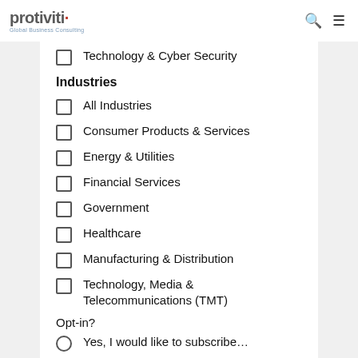protiviti · Global Business Consulting
Technology & Cyber Security
Industries
All Industries
Consumer Products & Services
Energy & Utilities
Financial Services
Government
Healthcare
Manufacturing & Distribution
Technology, Media & Telecommunications (TMT)
Opt-in?
Yes, I would like to subscribe…
Unsubscribe